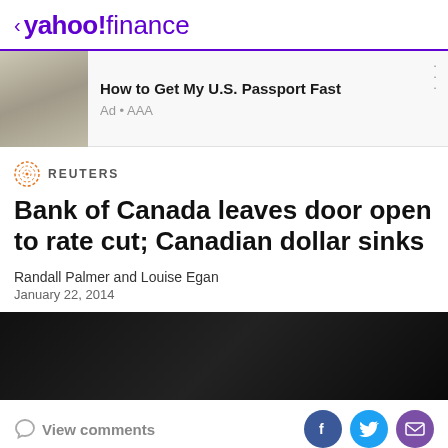< yahoo!finance
[Figure (screenshot): Advertisement banner showing passport image with text 'How to Get My U.S. Passport Fast' and 'Ad • AAA']
REUTERS
Bank of Canada leaves door open to rate cut; Canadian dollar sinks
Randall Palmer and Louise Egan
January 22, 2014
[Figure (photo): Dark/black image strip — article photo]
View comments